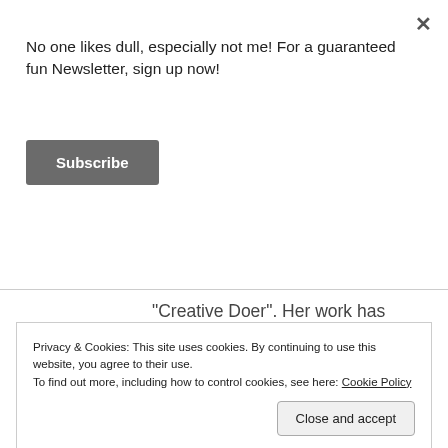No one likes dull, especially not me! For a guaranteed fun Newsletter, sign up now!
Subscribe
"Creative Doer". Her work has appeared in national and local publications on topics including lifestyle, travel, books, art, and motherhood! She lives in Raleigh, NC with her husband and four children.
Privacy & Cookies: This site uses cookies. By continuing to use this website, you agree to their use.
To find out more, including how to control cookies, see here: Cookie Policy
Close and accept